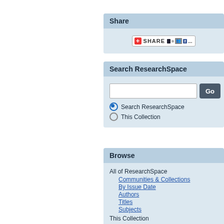Share
[Figure (screenshot): Share button widget with AddThis social sharing icons including plus, bookmark dots, people, Facebook, and ellipsis]
Search ResearchSpace
Search input field with Go button
Search ResearchSpace (selected radio button)
This Collection (radio button)
Browse
All of ResearchSpace
Communities & Collections
By Issue Date
Authors
Titles
Subjects
This Collection
By Issue Date
Authors
Titles
Subjects